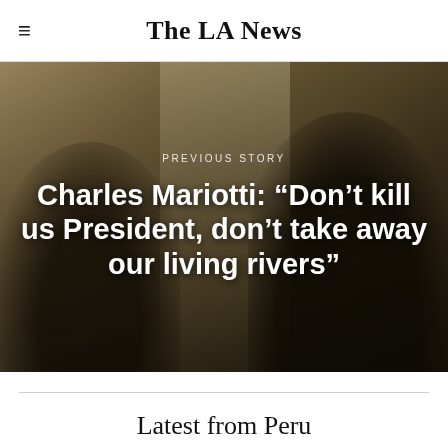The LA News
[Figure (photo): Indoor meeting scene with audience members seated and a speaker in a white shirt standing at the front of the room]
PREVIOUS STORY
Charles Mariotti: “Don’t kill us President, don’t take away our living rivers”
Latest from Peru